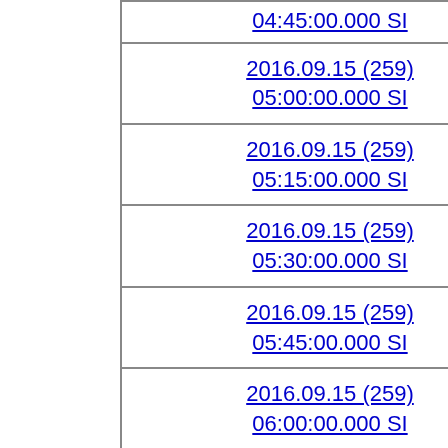| 04:45:00.000 SI |
| 2016.09.15 (259)
05:00:00.000 SI |
| 2016.09.15 (259)
05:15:00.000 SI |
| 2016.09.15 (259)
05:30:00.000 SI |
| 2016.09.15 (259)
05:45:00.000 SI |
| 2016.09.15 (259)
06:00:00.000 SI |
| 2016.09.15 (259)
06:15:00.000 SI |
| 2016.09.15 (259)
06:30:00.000 SI |
| 2016.09.15 (259)
06:45:00.000 SI |
| 2016.09.15 (259) |